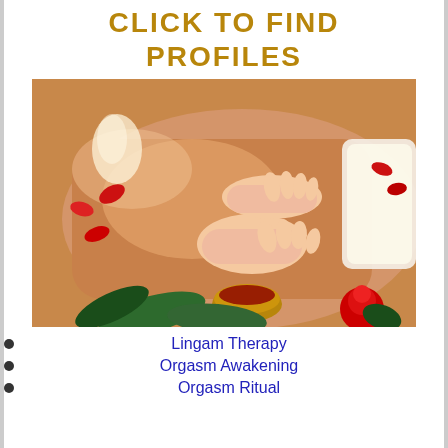CLICK TO FIND PROFILES
[Figure (photo): Massage therapy photo showing hands performing back massage with rose petals and a bowl of oil]
Lingam Therapy
Orgasm Awakening
Orgasm Ritual